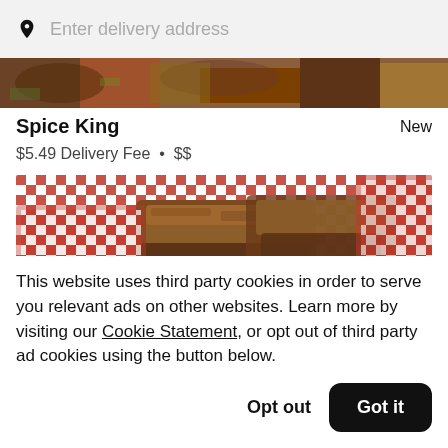Enter delivery address
[Figure (photo): Top strip of food photo showing bowls with food, partially visible]
Spice King
New
$5.49 Delivery Fee • $$
[Figure (photo): Food photo showing sandwiches or burgers in red checkered paper-lined baskets]
This website uses third party cookies in order to serve you relevant ads on other websites. Learn more by visiting our Cookie Statement, or opt out of third party ad cookies using the button below.
Opt out
Got it